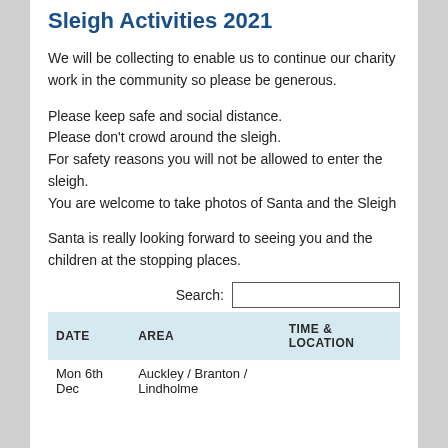Sleigh Activities 2021
We will be collecting to enable us to continue our charity work in the community so please be generous.
Please keep safe and social distance.
Please don't crowd around the sleigh.
For safety reasons you will not be allowed to enter the sleigh.
You are welcome to take photos of Santa and the Sleigh
Santa is really looking forward to seeing you and the children at the stopping places.
| DATE | AREA | TIME & LOCATION |
| --- | --- | --- |
| Mon 6th Dec | Auckley / Branton / Lindholme |  |